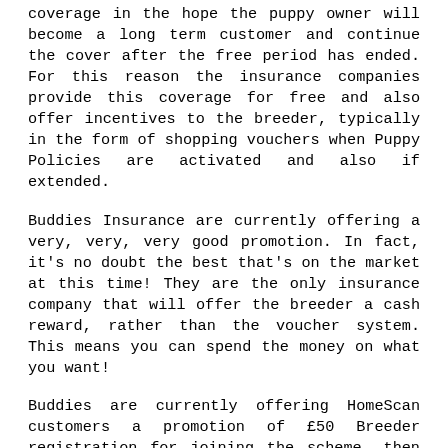coverage in the hope the puppy owner will become a long term customer and continue the cover after the free period has ended. For this reason the insurance companies provide this coverage for free and also offer incentives to the breeder, typically in the form of shopping vouchers when Puppy Policies are activated and also if extended.
Buddies Insurance are currently offering a very, very, very good promotion. In fact, it's no doubt the best that's on the market at this time! They are the only insurance company that will offer the breeder a cash reward, rather than the voucher system. This means you can spend the money on what you want!
Buddies are currently offering HomeScan customers a promotion of £50 Breeder registration for joining the scheme, then an additional £50 when you register your first litter for the 'one month free (OMF)' insurance. An